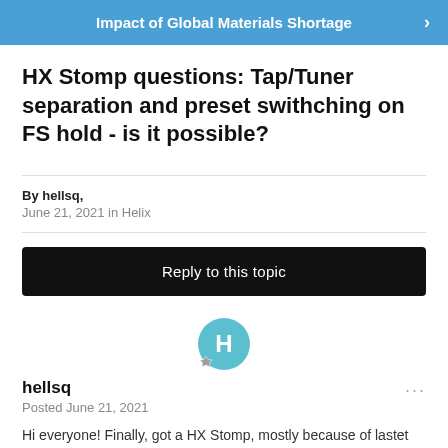Impact of Global Materials Shortage
HX Stomp questions: Tap/Tuner separation and preset swithching on FS hold - is it possible?
By hellsq,
June 21, 2021 in Helix
Reply to this topic
[Figure (illustration): User avatar circle with letter H in teal/cyan color, with a small badge icon at bottom left]
hellsq
Posted June 21, 2021
Hi everyone! Finally, got a HX Stomp, mostly because of lastet